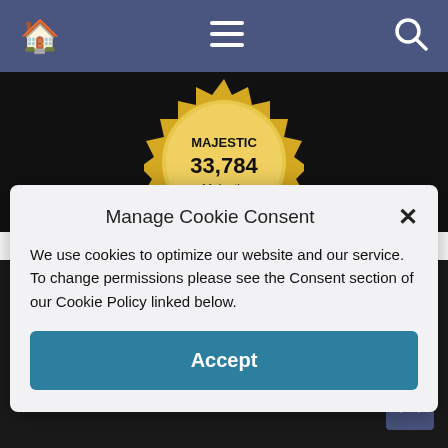[Figure (screenshot): Navigation bar with home icon, hamburger menu icon, and search icon on a slate-blue background]
[Figure (other): Gold badge showing MAJESTIC 33,784 Majestic Million on a black background strip]
Manage Cookie Consent
We use cookies to optimize our website and our service. To change permissions please see the Consent section of our Cookie Policy linked below.
Accept
Copyright © 1996–2022 MexConnect & respective authors. | ISSN #1028-9089 | About | Copyright | Contact | Privacy | Do Not Sell My Info. | Manage Consent | Exclusive Member of Mediavine Travel